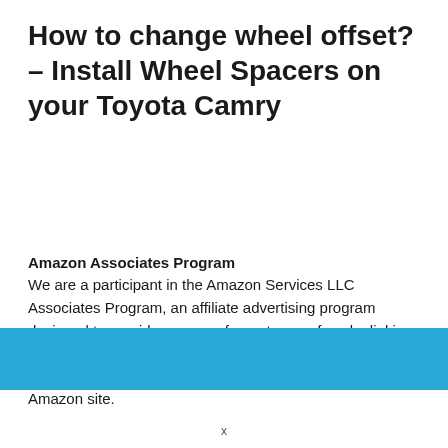How to change wheel offset? – Install Wheel Spacers on your Toyota Camry
Amazon Associates Program
We are a participant in the Amazon Services LLC Associates Program, an affiliate advertising program designed to provide a means for us to earn fees by linking to Amazon.com and affiliated sites.
We may earn a commission from links that lead to the Amazon site.
[Figure (other): Blue decorative bar at the bottom of the page]
x